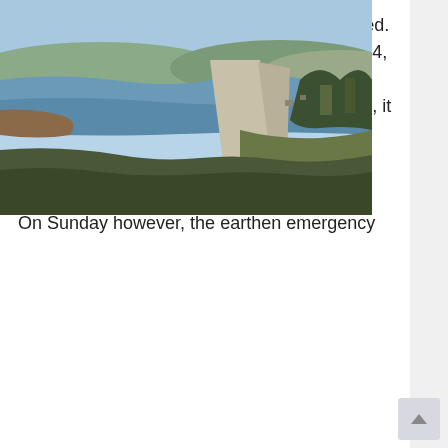emergency spillway that had never been used. As you can see in the image below from 2014, drought has made the spillway an absent concern and since it has never been needed, it has not been on the radar for Oroville Dam officials.
[Figure (photo): Aerial photograph of Oroville Dam from 2014, showing the dam structure with low reservoir water levels, surrounding hills, and access roads. The reservoir shows drought conditions with exposed shorelines.]
On Sunday however, the earthen emergency